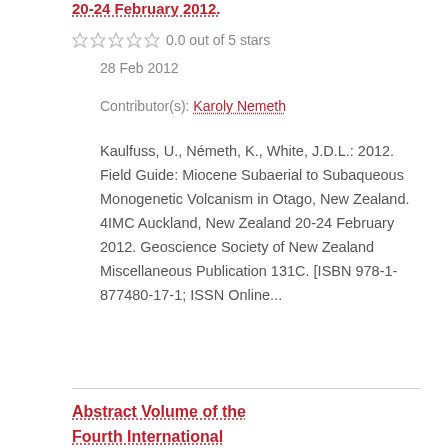20-24 February 2012.
0.0 out of 5 stars
28 Feb 2012
Contributor(s): Karoly Nemeth
Kaulfuss, U., Németh, K., White, J.D.L.: 2012. Field Guide: Miocene Subaerial to Subaqueous Monogenetic Volcanism in Otago, New Zealand. 4IMC Auckland, New Zealand 20-24 February 2012. Geoscience Society of New Zealand Miscellaneous Publication 131C. [ISBN 978-1-877480-17-1; ISSN Online...
Abstract Volume of the Fourth International Maar Conference A Multidisciplinary Congress on Monogenetic